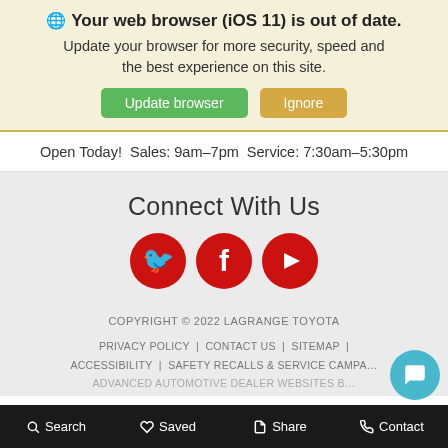🌐 Your web browser (iOS 11) is out of date. Update your browser for more security, speed and the best experience on this site. Update browser | Ignore
Open Today!  Sales: 9am-7pm  Service: 7:30am-5:30pm
Connect With Us
[Figure (illustration): Three red circular social media icons: Twitter (bird), Facebook (f), YouTube (play button)]
COPYRIGHT © 2022 LAGRANGE TOYOTA
PRIVACY POLICY | CONTACT US | SITEMAP | ACCESSIBILITY | SAFETY RECALLS & SERVICE CAMPA... | ADVANCED AUTOMOTIVE DEALER WEBSITES B...
Search | Saved | Share | Contact